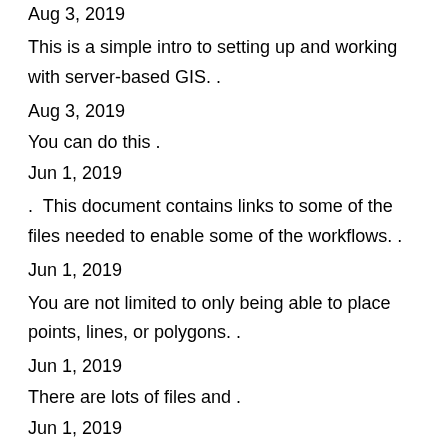Aug 3, 2019
This is a simple intro to setting up and working with server-based GIS..
Aug 3, 2019
You can do this .
Jun 1, 2019
. This document contains links to some of the files needed to enable some of the workflows..
Jun 1, 2019
You are not limited to only being able to place points, lines, or polygons..
Jun 1, 2019
There are lots of files and .
Jun 1, 2019